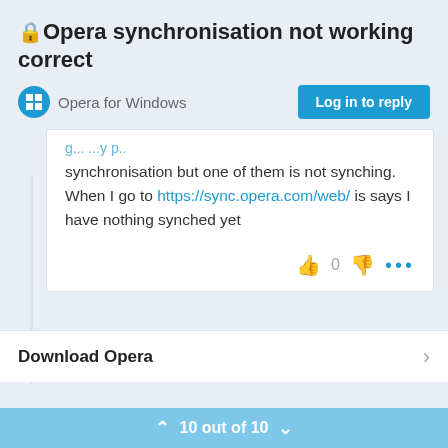🔒Opera synchronisation not working correct
Opera for Windows
Log in to reply
synchronisation but one of them is not synching. When I go to https://sync.opera.com/web/ is says I have nothing synched yet
👍 0 👎 •••
Download Opera
10 out of 10